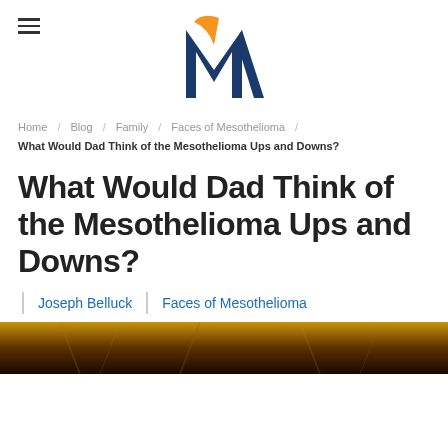[Figure (logo): Mesothelioma website logo: stylized M with orange and dark blue colors]
Home / Blog / Family / Faces of Mesothelioma / What Would Dad Think of the Mesothelioma Ups and Downs?
What Would Dad Think of the Mesothelioma Ups and Downs?
Joseph Belluck | Faces of Mesothelioma
[Figure (photo): Dark photo with warm golden/brown tones, partially visible at bottom of page]